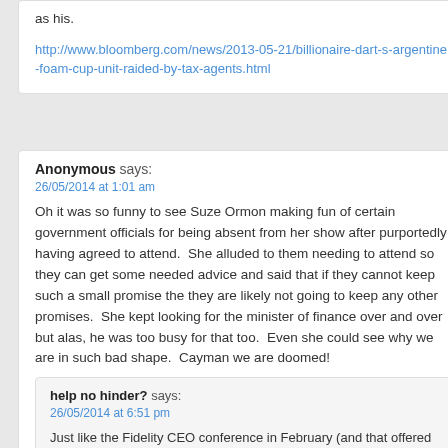as his.
http://www.bloomberg.com/news/2013-05-21/billionaire-dart-s-argentine-foam-cup-unit-raided-by-tax-agents.html
Anonymous says:
26/05/2014 at 1:01 am
Oh it was so funny to see Suze Ormon making fun of certain government officials for being absent from her show after purportedly having agreed to attend.  She alluded to them needing to attend so they can get some needed advice and said that if they cannot keep such a small promise the they are likely not going to keep any other promises.  She kept looking for the minister of finance over and over but alas, he was too busy for that too.  Even she could see why we are in such bad shape.  Cayman we are doomed!
help no hinder? says:
26/05/2014 at 6:51 pm
Just like the Fidelity CEO conference in February (and that offered world class think tank speakers who actually KNEW something about global Economics!) it was a disgrace to see